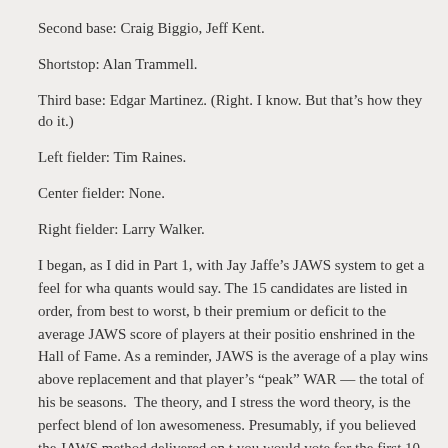Second base: Craig Biggio, Jeff Kent.
Shortstop: Alan Trammell.
Third base: Edgar Martinez. (Right. I know. But that’s how they do it.)
Left fielder: Tim Raines.
Center fielder: None.
Right fielder: Larry Walker.
I began, as I did in Part 1, with Jay Jaffe’s JAWS system to get a feel for what the quants would say. The 15 candidates are listed in order, from best to worst, by their premium or deficit to the average JAWS score of players at their position enshrined in the Hall of Fame. As a reminder, JAWS is the average of a player’s wins above replacement and that player’s “peak” WAR — the total of his best seven seasons. The theory, and I stress the word theory, is the perfect blend of longevity and awesomeness. Presumably, if you believed the JAWS method delivered on this promise, you would vote for the first 10 names on this list and be done with it, especially because the first 10, conveniently, are above the average of the players at their position already in the Hall, and the next five are below. The idea behind JAWS is to prevent dilution of the quality of players in the Hall by inducting only players equal or superior to the existing residents.
1. Randy Johnson (+20.2)